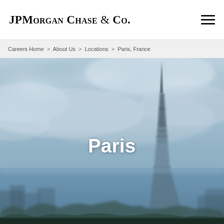JPMorgan Chase & Co.
Careers Home > About Us > Locations > Paris, France
[Figure (photo): Aerial misty view of Paris with the Eiffel Tower prominently visible through clouds and blue-grey haze, used as a hero banner image for JPMorgan Chase careers page Paris location.]
Paris